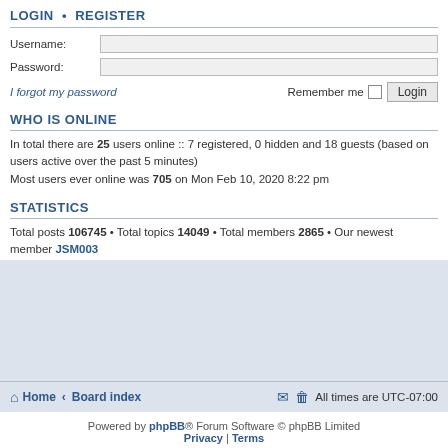LOGIN • REGISTER
Username:
Password:
I forgot my password | Remember me [ ] Login
WHO IS ONLINE
In total there are 25 users online :: 7 registered, 0 hidden and 18 guests (based on users active over the past 5 minutes)
Most users ever online was 705 on Mon Feb 10, 2020 8:22 pm
STATISTICS
Total posts 106745 • Total topics 14049 • Total members 2865 • Our newest member JSM003
Home · Board index | All times are UTC-07:00
Powered by phpBB® Forum Software © phpBB Limited | Privacy | Terms